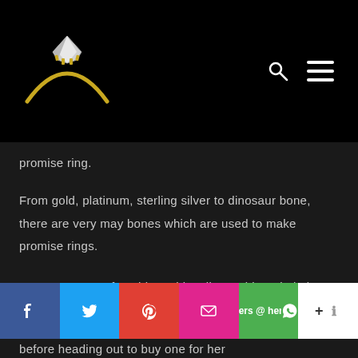[Figure (logo): Diamond engagement ring logo with gold band on black background]
promise ring.
From gold, platinum, sterling silver to dinosaur bone, there are very may bones which are used to make promise rings.
Most women prefer white gold, yellow gold, and platinum bands although preferences differ from one woman to the other.  Talk to your loved one to
[Figure (screenshot): Social sharing bar with Facebook, Twitter, Pinterest, Email, WhatsApp, and more buttons]
before heading out to buy one for her